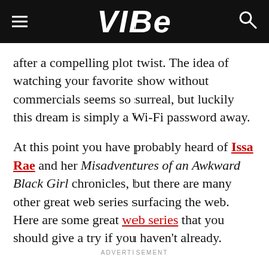VIBE
after a compelling plot twist. The idea of watching your favorite show without commercials seems so surreal, but luckily this dream is simply a Wi-Fi password away.
At this point you have probably heard of Issa Rae and her Misadventures of an Awkward Black Girl chronicles, but there are many other great web series surfacing the web. Here are some great web series that you should give a try if you haven't already.
ADVERTISEMENT